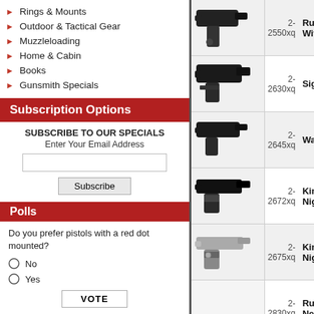Rings & Mounts
Outdoor & Tactical Gear
Muzzleloading
Home & Cabin
Books
Gunsmith Specials
Subscription Options
SUBSCRIBE TO OUR SPECIALS
Enter Your Email Address
Polls
Do you prefer pistols with a red dot mounted?
No
Yes
| Image | Code | Name |
| --- | --- | --- |
| [pistol image] | 2-2550xq | Ruger
With T |
| [pistol image] | 2-2630xq | Sig Sa |
| [pistol image] | 2-2645xq | Walth |
| [pistol image] | 2-2672xq | Kimbe
Night |
| [pistol image] | 2-2675xq | Kimbe
Night |
| [empty] | 2-2830xq | Ruger
New. |